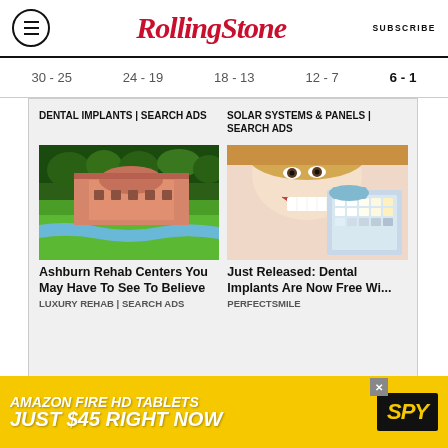Rolling Stone | SUBSCRIBE
30 - 25   24 - 19   18 - 13   12 - 7   6 - 1
DENTAL IMPLANTS | SEARCH ADS
SOLAR SYSTEMS & PANELS | SEARCH ADS
[Figure (photo): Aerial view of luxury resort/rehab center with pink/terracotta building surrounded by green golf course and trees]
Ashburn Rehab Centers You May Have To See To Believe
LUXURY REHAB | SEARCH ADS
[Figure (photo): Woman smiling with dental veneers being held up by dentist in blue gloves]
Just Released: Dental Implants Are Now Free Wi...
PERFECTSMILE
[Figure (infographic): Amazon Fire HD Tablets Just $45 Right Now - SPY advertisement banner in yellow and black]